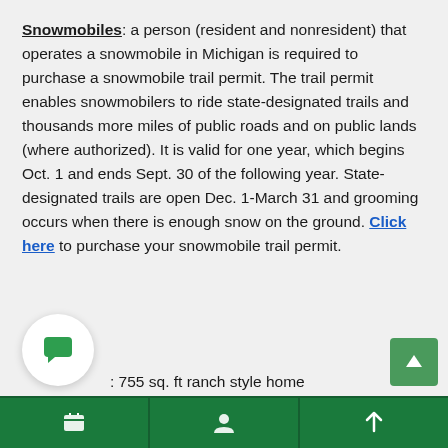Snowmobiles: a person (resident and nonresident) that operates a snowmobile in Michigan is required to purchase a snowmobile trail permit. The trail permit enables snowmobilers to ride state-designated trails and thousands more miles of public roads and on public lands (where authorized). It is valid for one year, which begins Oct. 1 and ends Sept. 30 of the following year. State-designated trails are open Dec. 1-March 31 and grooming occurs when there is enough snow on the ground. Click here to purchase your snowmobile trail permit.
755 sq. ft ranch style home